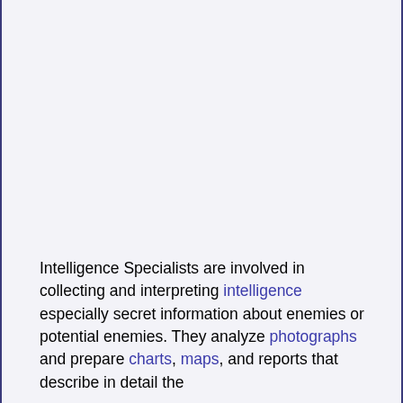Intelligence Specialists are involved in collecting and interpreting intelligence especially secret information about enemies or potential enemies. They analyze photographs and prepare charts, maps, and reports that describe in detail the